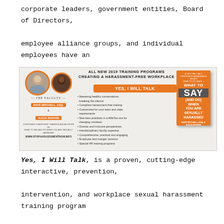corporate leaders, government entities, Board of Directors, employee alliance groups, and individual employees have an unprecedented need today for comprehensive and integrated training platforms that move beyond risk management.
[Figure (infographic): Advertisement for 2019 training programs 'Creating a Harassment-Free Workplace'. Features two circular headshots of faculty Raye Mitchell, Esq. and Alicia DuVars, a 'YES, I WILL TALK' orange banner, bullet points listing program features, and a book cover for 'What to Say (And Do) When You Are Sexually Harassed'. Website: www.stopharasssmentnow.info]
Yes, I Will Talk, is a proven, cutting-edge interactive, prevention, intervention, and workplace sexual harassment training program that delivers an interdisciplinary training program that moves beyond mere compliance to building compliance to creating a